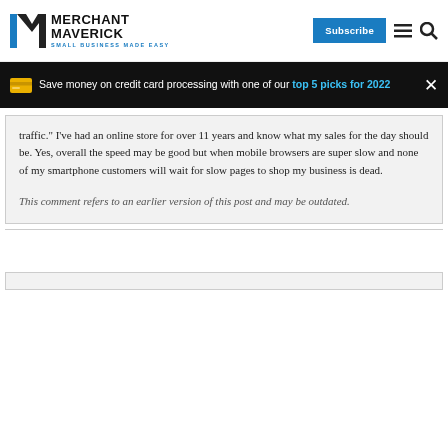Merchant Maverick - Small Business Made Easy | Subscribe
Save money on credit card processing with one of our top 5 picks for 2022
traffic. I've had an online store for over 11 years and know what my sales for the day should be. Yes, overall the speed may be good but when mobile browsers are super slow and none of my smartphone customers will wait for slow pages to shop my business is dead.
This comment refers to an earlier version of this post and may be outdated.